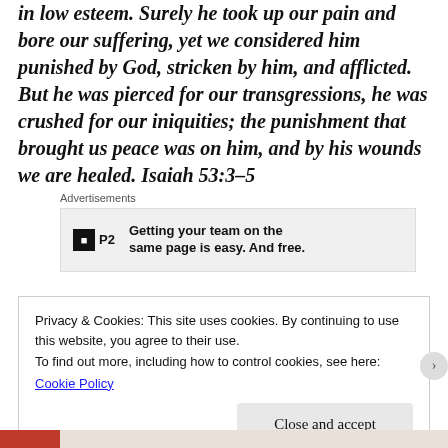in low esteem. Surely he took up our pain and bore our suffering, yet we considered him punished by God, stricken by him, and afflicted. But he was pierced for our transgressions, he was crushed for our iniquities; the punishment that brought us peace was on him, and by his wounds we are healed. Isaiah 53:3–5
Advertisements
[Figure (other): Advertisement banner: P2 logo with text 'Getting your team on the same page is easy. And free.']
Privacy & Cookies: This site uses cookies. By continuing to use this website, you agree to their use.
To find out more, including how to control cookies, see here:
Cookie Policy

Close and accept